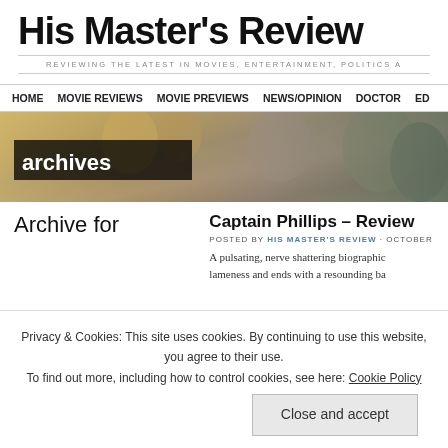His Master's Review
REVIEWING THE LATEST IN MOVIES, ENTERTAINMENT, POLITICS A
HOME  MOVIE REVIEWS  MOVIE PREVIEWS  NEWS/OPINION  DOCTOR  ED
[Figure (photo): Banner image with collage of movie/entertainment figures, with 'archives' label overlay]
Archive for
Captain Phillips – Review
POSTED BY HIS MASTER'S REVIEW · OCTOBER
A pulsating, nerve shattering biographic lameness and ends with a resounding ba
Privacy & Cookies: This site uses cookies. By continuing to use this website, you agree to their use.
To find out more, including how to control cookies, see here: Cookie Policy
Close and accept